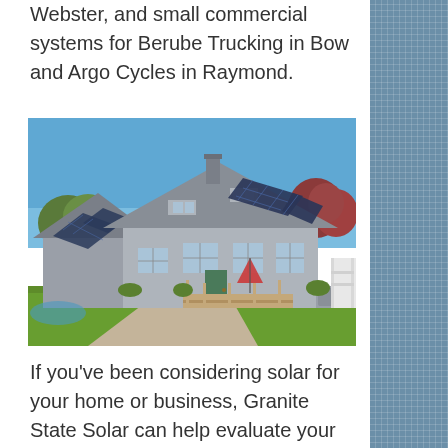Webster, and small commercial systems for Berube Trucking in Bow and Argo Cycles in Raymond.
[Figure (photo): A grey two-story house with solar panels installed on multiple roof sections, surrounded by green lawn and trees under a blue sky.]
If you’ve been considering solar for your home or business, Granite State Solar can help evaluate your property to identify the best location using state of the art solar exposure technology and an advanced program for roof measurements with no climbing or